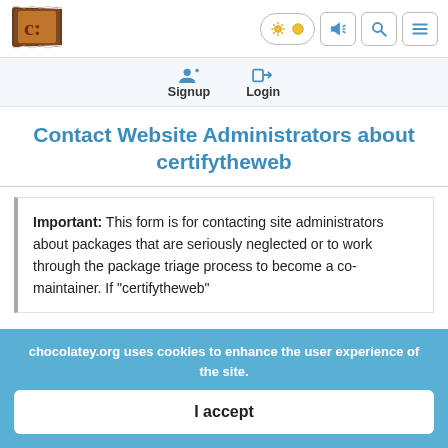Chocolatey logo, theme toggle, announcement, search, menu
Signup   Login
Contact Website Administrators about certifytheweb
Important: This form is for contacting site administrators about packages that are seriously neglected or to work through the package triage process to become a co-maintainer. If "certifytheweb"
chocolatey.org uses cookies to enhance the user experience of the site.
I accept